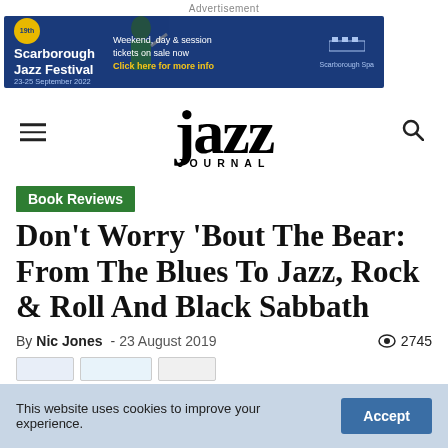Advertisement
[Figure (illustration): Scarborough Jazz Festival advertisement banner: 19th Scarborough Jazz Festival 23-25 September 2022. Weekend, day & session tickets on sale now. Click here for more info. Scarborough Spa logo.]
[Figure (logo): Jazz Journal logo — large serif 'jazz' wordmark with 'JOURNAL' in small caps below]
Book Reviews
Don't Worry 'Bout The Bear: From The Blues To Jazz, Rock & Roll And Black Sabbath
By Nic Jones - 23 August 2019  👁 2745
This website uses cookies to improve your experience.